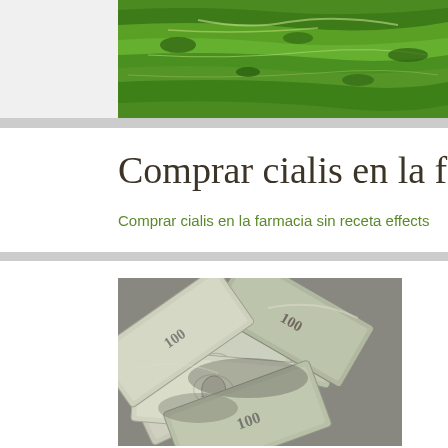[Figure (photo): Aerial view of green terraced fields/farmland landscape]
Comprar cialis en la farmaci…
Comprar cialis en la farmacia sin receta effects
[Figure (photo): Pile of US dollar bills (100 dollar notes) scattered]